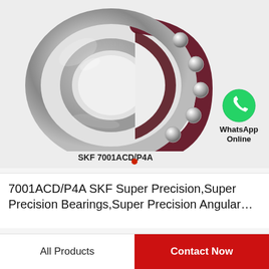[Figure (photo): Angular contact ball bearing SKF 7001ACD/P4A shown at an angle, with dark red/maroon cage holding chrome steel balls visible on the right side, inner and outer rings in polished chrome, on a light gray background.]
SKF 7001ACD/P4A
[Figure (logo): WhatsApp green circular icon with white phone handset, with text 'WhatsApp Online' below it]
7001ACD/P4A SKF Super Precision,Super Precision Bearings,Super Precision Angular…
All Products  |  Contact Now